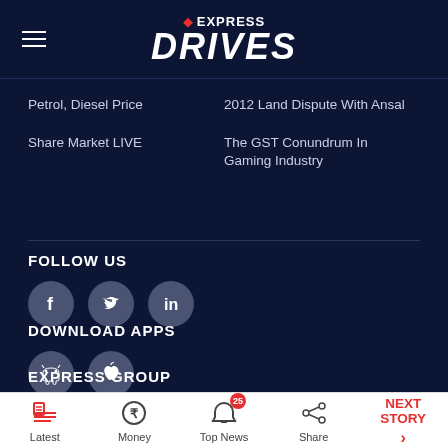EXPRESS DRIVES
Petrol, Diesel Price
2012 Land Dispute With Ansal
Share Market LIVE
The GST Conundrum In Gaming Industry
FOLLOW US
[Figure (illustration): Social media icons: Facebook, Twitter, LinkedIn in grey circles]
DOWNLOAD APPS
[Figure (illustration): App store icons: Android and Apple in grey circles]
EXPRESS GROUP
INDIAN EXPRESS GROUP
MyInsuranceClub
Latest | Money | Top News 25 | Share | NEXT STORY